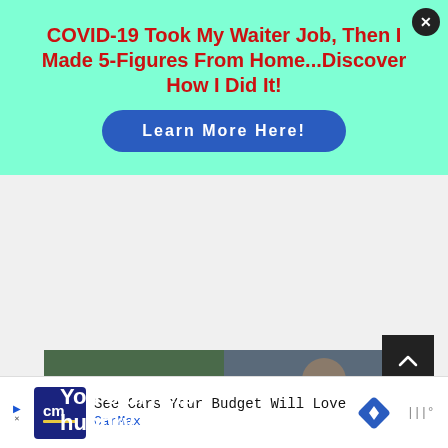[Figure (infographic): Advertisement banner with mint/teal background. Red bold headline text: COVID-19 Took My Waiter Job, Then I Made 5-Figures From Home...Discover How I Did It! Blue pill-shaped button: Learn More Here! Close X button in top right corner.]
[Figure (infographic): No Kid Hungry charity advertisement. Photo of child in gray shirt. White text overlay: You can help hungry kids. Orange bottom bar with white Learn How button and No Kid Hungry logo.]
[Figure (infographic): CarMax advertisement banner at bottom. Shows CarMax CM logo, text: See Cars Your Budget Will Love, CarMax, navigation arrow icon, and weather icon.]